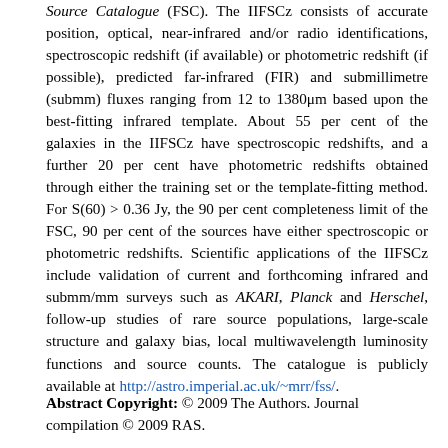Source Catalogue (FSC). The IIFSCz consists of accurate position, optical, near-infrared and/or radio identifications, spectroscopic redshift (if available) or photometric redshift (if possible), predicted far-infrared (FIR) and submillimetre (submm) fluxes ranging from 12 to 1380μm based upon the best-fitting infrared template. About 55 per cent of the galaxies in the IIFSCz have spectroscopic redshifts, and a further 20 per cent have photometric redshifts obtained through either the training set or the template-fitting method. For S(60) > 0.36 Jy, the 90 per cent completeness limit of the FSC, 90 per cent of the sources have either spectroscopic or photometric redshifts. Scientific applications of the IIFSCz include validation of current and forthcoming infrared and submm/mm surveys such as AKARI, Planck and Herschel, follow-up studies of rare source populations, large-scale structure and galaxy bias, local multiwavelength luminosity functions and source counts. The catalogue is publicly available at http://astro.imperial.ac.uk/~mrr/fss/.
Abstract Copyright: © 2009 The Authors. Journal compilation © 2009 RAS.